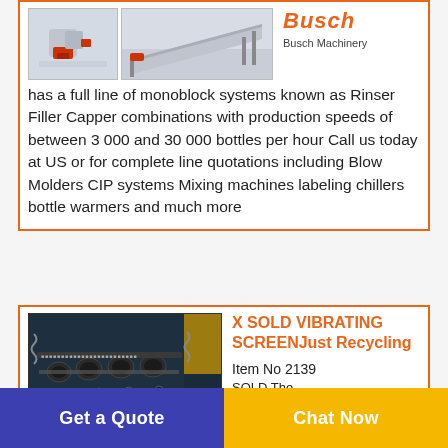[Figure (photo): Two product images of machinery (red and gray equipment) shown side by side on the left of the first card]
Busch
Busch Machinery has a full line of monoblock systems known as Rinser Filler Capper combinations with production speeds of between 3 000 and 30 000 bottles per hour Call us today at US or for complete line quotations including Blow Molders CIP systems Mixing machines labeling chillers bottle warmers and much more
[Figure (photo): Interior of a vibrating screen machine showing dark cylindrical rollers and mechanical components]
X SOLD VIBRATING SCREENJust Recycling
Item No 2139
SOLD The...
Get a Quote
Chat Now